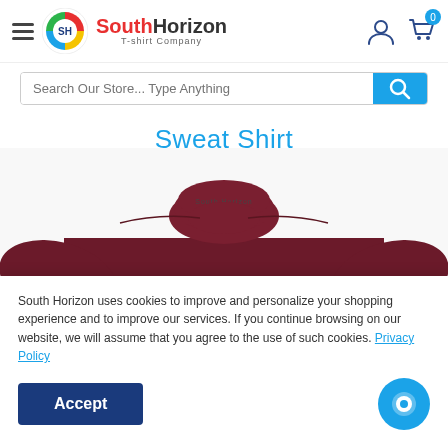[Figure (logo): South Horizon T-shirt Company logo with colorful circular emblem and navigation icons]
Search Our Store... Type Anything
Sweat Shirt
[Figure (photo): Dark maroon/burgundy sweat shirt with South Horizon branding on collar, mock neck style]
South Horizon uses cookies to improve and personalize your shopping experience and to improve our services. If you continue browsing on our website, we will assume that you agree to the use of such cookies. Privacy Policy
Accept